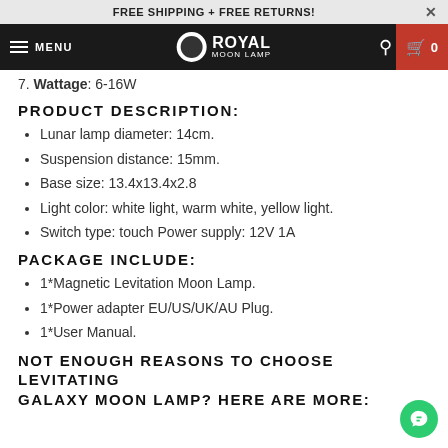FREE SHIPPING + FREE RETURNS!
MENU | ROYAL MOON LAMP | 0
7. Wattage: 6-16W
PRODUCT DESCRIPTION:
Lunar lamp diameter: 14cm.
Suspension distance: 15mm.
Base size: 13.4x13.4x2.8
Light color: white light, warm white, yellow light.
Switch type: touch Power supply: 12V 1A
PACKAGE INCLUDE:
1*Magnetic Levitation Moon Lamp.
1*Power adapter EU/US/UK/AU Plug.
1*User Manual.
NOT ENOUGH REASONS TO CHOOSE LEVITATING GALAXY MOON LAMP? HERE ARE MORE: